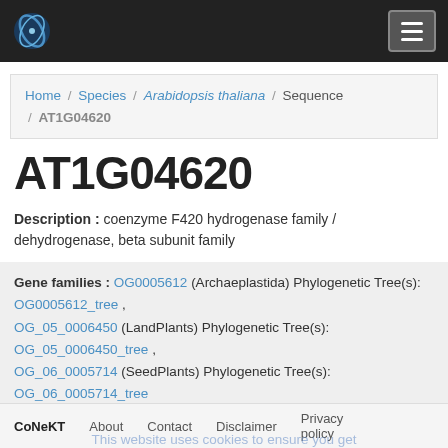CoNeKT [logo] [menu button]
Home / Species / Arabidopsis thaliana / Sequence / AT1G04620
AT1G04620
Description : coenzyme F420 hydrogenase family / dehydrogenase, beta subunit family
Gene families : OG0005612 (Archaeplastida) Phylogenetic Tree(s): OG0005612_tree , OG_05_0006450 (LandPlants) Phylogenetic Tree(s): OG_05_0006450_tree , OG_06_0005714 (SeedPlants) Phylogenetic Tree(s): OG_06_0005714_tree
CoNeKT  About  Contact  Disclaimer  Privacy policy